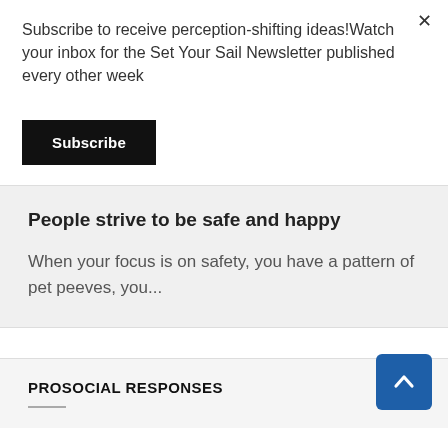Subscribe to receive perception-shifting ideas!Watch your inbox for the Set Your Sail Newsletter published every other week
Subscribe
People strive to be safe and happy
When your focus is on safety, you have a pattern of pet peeves, you...
PROSOCIAL RESPONSES